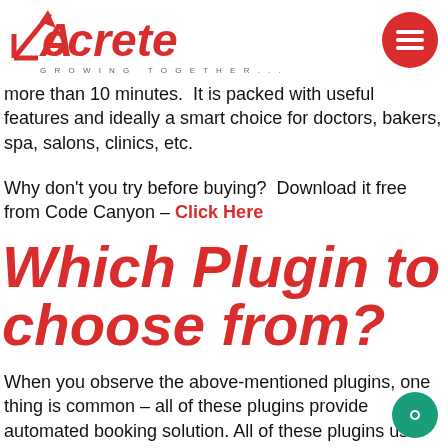[Figure (logo): Accrete logo with red arrow and text 'GROWING TOGETHER...' tagline, red circular hamburger menu icon top right]
more than 10 minutes.  It is packed with useful features and ideally a smart choice for doctors, bakers, spa, salons, clinics, etc.
Why don't you try before buying?  Download it free from Code Canyon – Click Here
Which Plugin to choose from?
When you observe the above-mentioned plugins, one thing is common – all of these plugins provide automated booking solution. All of these plugins use the best tech stack to deliver a great and hassle-free experience.